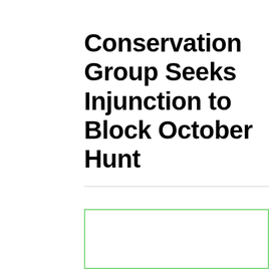Conservation Group Seeks Injunction to Block October Hunt
[Figure (other): Empty white box with green border, likely a placeholder for an image or advertisement]